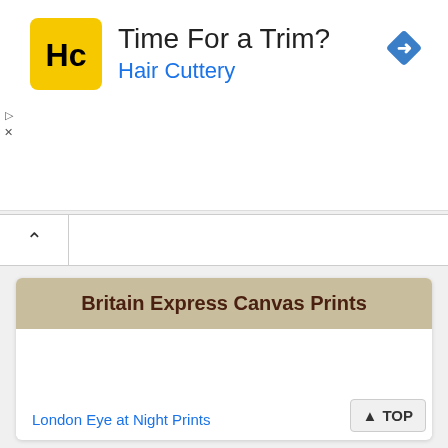[Figure (screenshot): Advertisement banner for Hair Cuttery with logo, text 'Time For a Trim?' and 'Hair Cuttery', and a blue navigation diamond icon]
Britain Express Canvas Prints
London Eye at Night Prints
▲ TOP